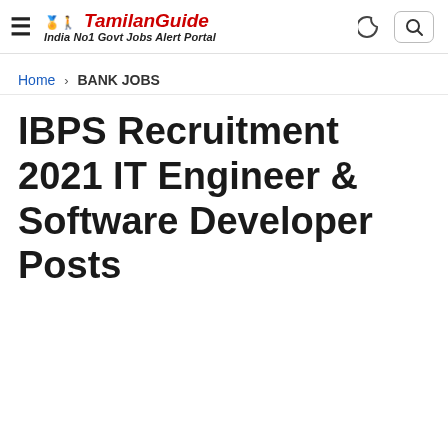TamilanGuide — India No1 Govt Jobs Alert Portal
Home › BANK JOBS
IBPS Recruitment 2021 IT Engineer & Software Developer Posts